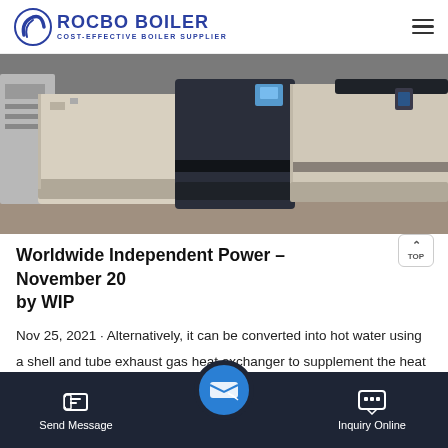ROCBO BOILER - COST-EFFECTIVE BOILER SUPPLIER
[Figure (photo): Industrial boiler units in a facility — black and beige/cream colored modular boiler systems side by side on a concrete floor]
Worldwide Independent Power – November 20... by WIP
Nov 25, 2021 · Alternatively, it can be converted into hot water using a shell and tube exhaust gas heat exchanger to supplement the heat from the engine cooling systems. Waste heat boilers
Send Message | Inquiry Online